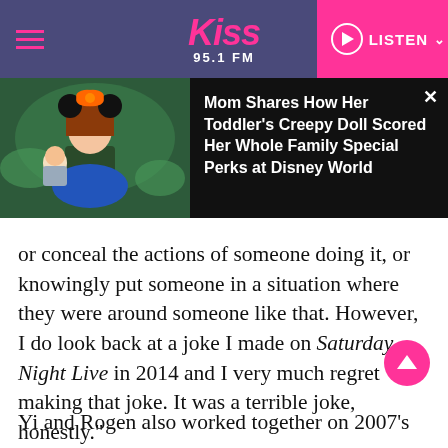Kiss 95.1 FM — LISTEN
[Figure (screenshot): Ad banner showing a girl in Minnie Mouse costume holding a doll, with headline: Mom Shares How Her Toddler's Creepy Doll Scored Her Whole Family Special Perks at Disney World]
or conceal the actions of someone doing it, or knowingly put someone in a situation where they were around someone like that. However, I do look back at a joke I made on Saturday Night Live in 2014 and I very much regret making that joke. It was a terrible joke, honestly."
Yi and Rogen also worked together on 2007's